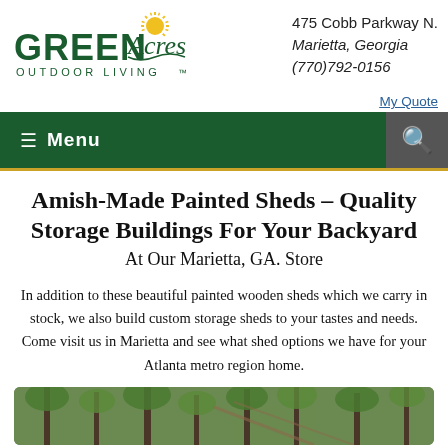[Figure (logo): Green Acres Outdoor Living logo with sun and script text]
475 Cobb Parkway N.
Marietta, Georgia
(770)792-0156
My Quote
≡ Menu
Amish-Made Painted Sheds – Quality Storage Buildings For Your Backyard
At Our Marietta, GA. Store
In addition to these beautiful painted wooden sheds which we carry in stock, we also build custom storage sheds to your tastes and needs. Come visit us in Marietta and see what shed options we have for your Atlanta metro region home.
[Figure (photo): Partial image of painted wooden shed among trees at bottom of page]